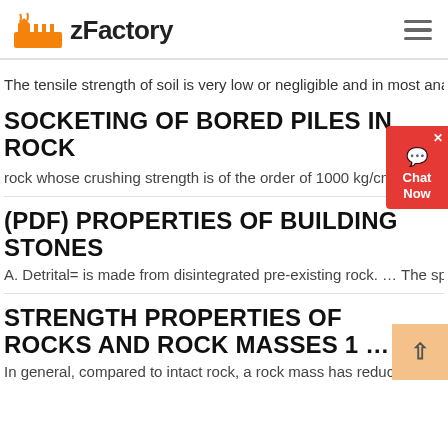zFactory
The tensile strength of soil is very low or negligible and in most analyse
SOCKETING OF BORED PILES IN ROCK
rock whose crushing strength is of the order of 1000 kg/cm² requires he…
(PDF) PROPERTIES OF BUILDING STONES
A. Detrital= is made from disintegrated pre-existing rock. … The specific g…
STRENGTH PROPERTIES OF ROCKS AND ROCK MASSES 1 …
In general, compared to intact rock, a rock mass has reduced tensile str…